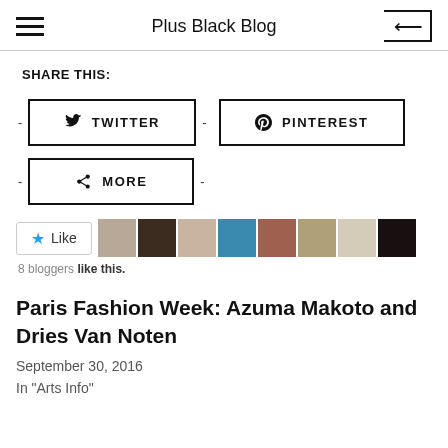Plus Black Blog
SHARE THIS:
- TWITTER - PINTEREST
- MORE -
★ Like  8 bloggers like this.
Paris Fashion Week: Azuma Makoto and Dries Van Noten
September 30, 2016
In "Arts Info"